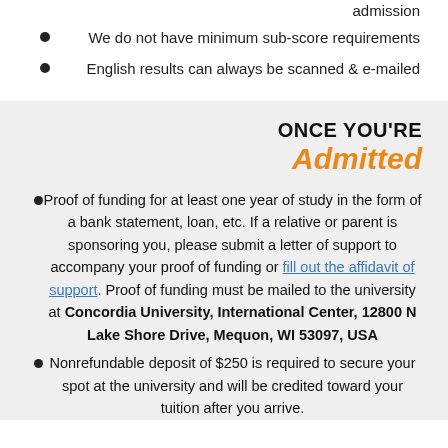We do not have minimum sub-score requirements
English results can always be scanned & e-mailed
ONCE YOU'RE Admitted
Proof of funding for at least one year of study in the form of a bank statement, loan, etc. If a relative or parent is sponsoring you, please submit a letter of support to accompany your proof of funding or fill out the affidavit of support. Proof of funding must be mailed to the university at Concordia University, International Center, 12800 N Lake Shore Drive, Mequon, WI 53097, USA
Nonrefundable deposit of $250 is required to secure your spot at the university and will be credited toward your tuition after you arrive.